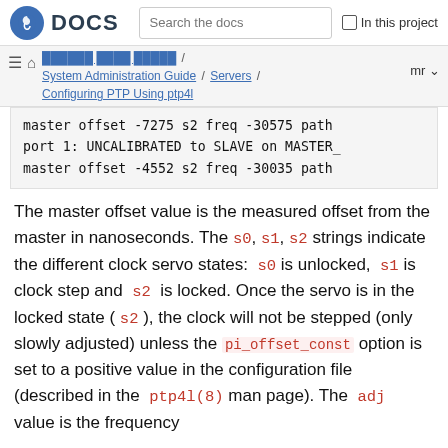DOCS — Search the docs — In this project
System Administration Guide / Servers / Configuring PTP Using ptp4l — mr
master offset  -7275 s2 freq -30575 path
port 1: UNCALIBRATED to SLAVE on MASTER_
master offset  -4552 s2 freq -30035 path
The master offset value is the measured offset from the master in nanoseconds. The s0, s1, s2 strings indicate the different clock servo states: s0 is unlocked, s1 is clock step and s2 is locked. Once the servo is in the locked state ( s2 ), the clock will not be stepped (only slowly adjusted) unless the pi_offset_const option is set to a positive value in the configuration file (described in the ptp4l(8) man page). The adj value is the frequency